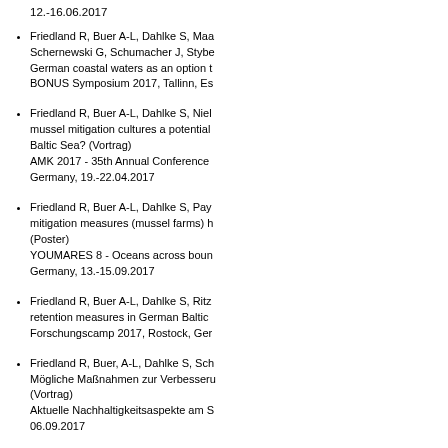12.-16.06.2017
Friedland R, Buer A-L, Dahlke S, Maa... Schernewski G, Schumacher J, Stybe... German coastal waters as an option t... BONUS Symposium 2017, Tallinn, Es...
Friedland R, Buer A-L, Dahlke S, Niel... mussel mitigation cultures a potential... Baltic Sea? (Vortrag) AMK 2017 - 35th Annual Conference... Germany, 19.-22.04.2017
Friedland R, Buer A-L, Dahlke S, Pay... mitigation measures (mussel farms) h... (Poster) YOUMARES 8 - Oceans across boun... Germany, 13.-15.09.2017
Friedland R, Buer A-L, Dahlke S, Ritz... retention measures in German Baltic... Forschungscamp 2017, Rostock, Ger...
Friedland R, Buer, A-L, Dahlke S, Sch... Mögliche Maßnahmen zur Verbesseru... (Vortrag) Aktuelle Nachhaltigkeitsaspekte am S... 06.09.2017